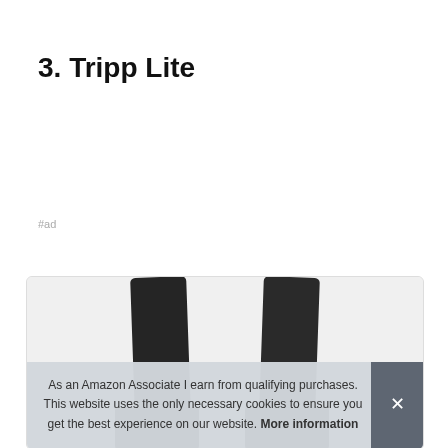3. Tripp Lite
#ad
[Figure (photo): Product photo of Tripp Lite cables, showing two black cables against a light background, partially obscured by a cookie consent banner.]
As an Amazon Associate I earn from qualifying purchases. This website uses the only necessary cookies to ensure you get the best experience on our website. More information